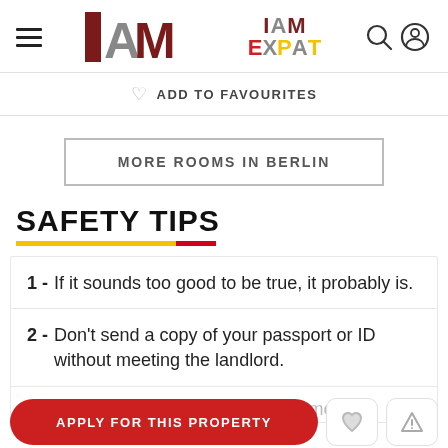I AM EXPAT
ADD TO FAVOURITES
MORE ROOMS IN BERLIN
SAFETY TIPS
1 - If it sounds too good to be true, it probably is.
2 - Don't send a copy of your passport or ID without meeting the landlord.
3 - Don't sign a contract or transfer money
APPLY FOR THIS PROPERTY